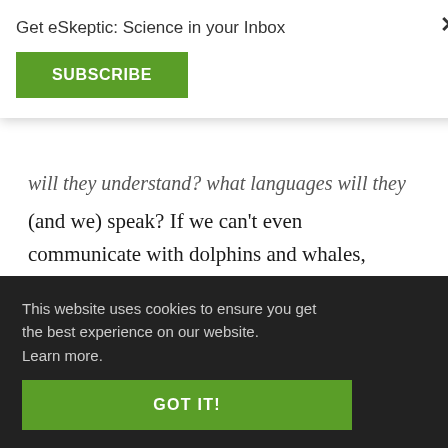Get eSkeptic: Science in your Inbox
SUBSCRIBE
will they understand? what languages will they (and we) speak? If we can't even communicate with dolphins and whales, which are mammals, or chimpanzees and gorillas, which are primates, how are we going to communicate with sentient beings that evolved on another planet? If we want to send a message to them ... from a ... container ... are not ... ky has ... e?
This website uses cookies to ensure you get the best experience on our website. Learn more.
GOT IT!